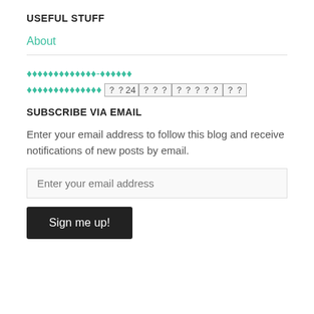USEFUL STUFF
About
🔶🔶🔶🔶🔶🔶🔶🔶🔶🔶🔶🔶-🔶🔶🔶🔶🔶🔶 🔶🔶🔶🔶🔶🔶🔶🔶🔶🔶🔶🔶🔶🔶 ??24|???|?????|??
SUBSCRIBE VIA EMAIL
Enter your email address to follow this blog and receive notifications of new posts by email.
Enter your email address
Sign me up!